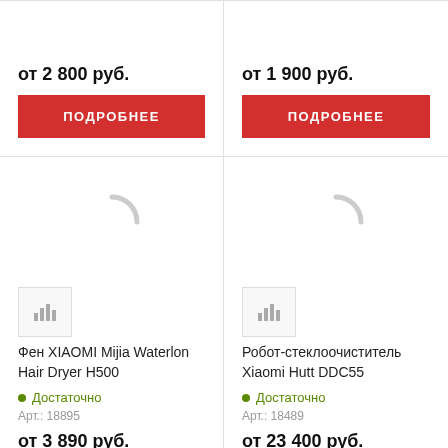[Figure (other): Top-left product card – truncated, showing only ПОДРОБНЕЕ button]
[Figure (other): Top-right product card – truncated, showing only ПОДРОБНЕЕ button]
[Figure (other): Bottom-left product card: Фен XIAOMI Mijia Waterlon Hair Dryer H500, loading spinner, thumbnail placeholder, availability, art 18895, price от 3 890 руб., ПОДРОБНЕЕ button]
[Figure (other): Bottom-right product card: Робот-стеклоочиститель Xiaomi Hutt DDC55, loading spinner, thumbnail placeholder, availability, art 18489, price от 23 400 руб., ПОДРОБНЕЕ button]